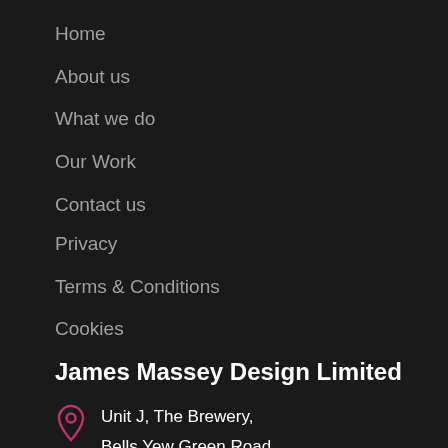Home
About us
What we do
Our Work
Contact us
Privacy
Terms & Conditions
Cookies
James Massey Design Limited
Unit J, The Brewery, Bells Yew Green Road, Tunbridge Wells,